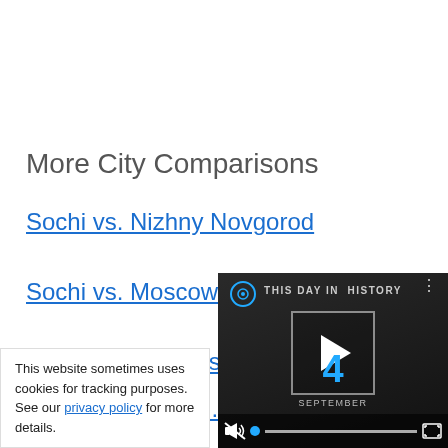More City Comparisons
Sochi vs. Nizhny Novgorod
Sochi vs. Moscow
Sochi vs. Vladivostok
Saint Petersburg ...
Saint Petersburg ...
This website sometimes uses cookies for tracking purposes. See our privacy policy for more details.
[Figure (screenshot): Video overlay showing 'THIS DAY IN HISTORY' with a play button, number 4, and SEPTEMBER label. Video player controls visible at bottom including mute icon, blue dot, progress bar, and fullscreen button.]